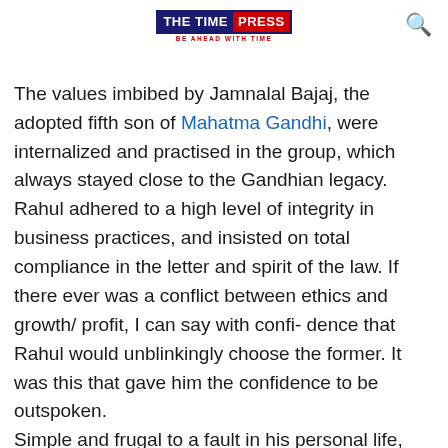THE TIME PRESS — BE AHEAD WITH TIME
The values imbibed by Jamnalal Bajaj, the adopted fifth son of Mahatma Gandhi, were internalized and practised in the group, which always stayed close to the Gandhian legacy. Rahul adhered to a high level of integrity in business practices, and insisted on total compliance in the letter and spirit of the law. If there ever was a conflict between ethics and growth/ profit, I can say with confi- dence that Rahul would unblinkingly choose the former. It was this that gave him the confidence to be outspoken. Simple and frugal to a fault in his personal life, Rahul was generous towards public causes and charitable projects, particularly when it came to the poor, to rural India, and education and health — long before corporate social responsibility became fashionable or mandatory. Rahul was